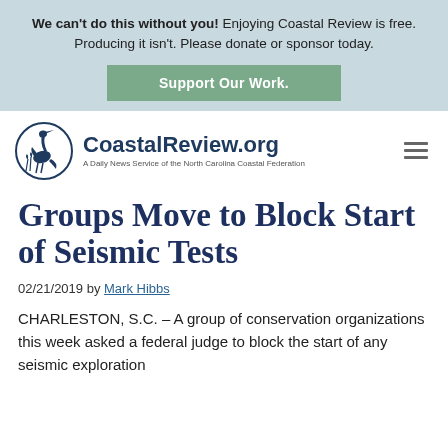We can't do this without you! Enjoying Coastal Review is free. Producing it isn't. Please donate or sponsor today.
Support Our Work.
[Figure (logo): CoastalReview.org logo with heron bird icon and tagline 'A Daily News Service of the North Carolina Coastal Federation']
Groups Move to Block Start of Seismic Tests
02/21/2019 by Mark Hibbs
CHARLESTON, S.C. – A group of conservation organizations this week asked a federal judge to block the start of any seismic exploration